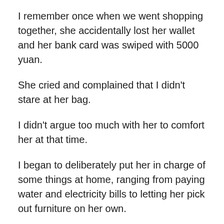I remember once when we went shopping together, she accidentally lost her wallet and her bank card was swiped with 5000 yuan.
She cried and complained that I didn't stare at her bag.
I didn't argue too much with her to comfort her at that time.
I began to deliberately put her in charge of some things at home, ranging from paying water and electricity bills to letting her pick out furniture on her own.
When she made a mistake, I never blamed her but worked with her to find a way to fix it.
I hope she can understand that in marriage, a sense of responsibility is a kind of loving